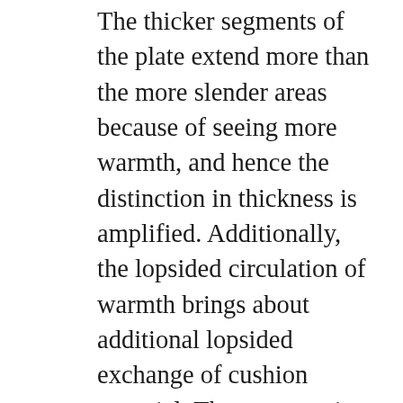The thicker segments of the plate extend more than the more slender areas because of seeing more warmth, and hence the distinction in thickness is amplified. Additionally, the lopsided circulation of warmth brings about additional lopsided exchange of cushion material. The outcome is that the thicker-more sizzling segments get significantly more cushion material than the more slender cooler areas, adding to a further expansion in the variety in the circle's thickness. In outrageous circumstances, this lopsided warming can cause the precious stone design of the plate material to change. This iron carbide is totally different from the solid metal the remainder of the plate is made out of. After cementite is shaped, the trustworthiness of the circle is compromised. Thickness variety has many